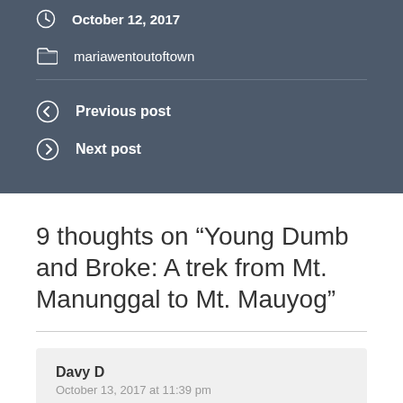October 12, 2017
mariawentoutoftown
Previous post
Next post
9 thoughts on “Young Dumb and Broke: A trek from Mt. Manunggal to Mt. Mauyog”
Davy D
October 13, 2017 at 11:39 pm

What a mesmerizing and beautiful post Maria. The thought of a book club in such wonderful surroundings